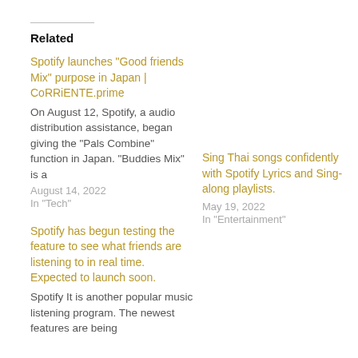Related
Spotify launches "Good friends Mix" purpose in Japan | CoRRiENTE.prime
On August 12, Spotify, a audio distribution assistance, began giving the "Pals Combine" function in Japan. "Buddies Mix" is a
August 14, 2022
In "Tech"
Sing Thai songs confidently with Spotify Lyrics and Sing-along playlists.
May 19, 2022
In "Entertainment"
Spotify has begun testing the feature to see what friends are listening to in real time. Expected to launch soon.
Spotify It is another popular music listening program. The newest features are being